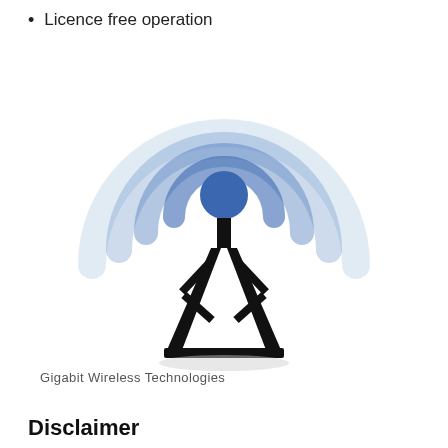Licence free operation
[Figure (illustration): Wireless tower icon with blue radio wave arcs emanating upward, and a black lattice tower structure below. Logo for Gigabit Wireless Technologies.]
Gigabit Wireless Technologies
Disclaimer